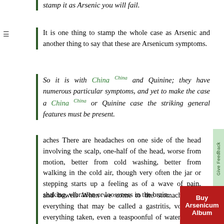stamp it as Arsenic you will fail.
It is one thing to stamp the whole case as Arsenic and another thing to say that these are Arsenicum symptoms.
So it is with China China and Quinine; they have numerous particular symptoms, and yet to make the case a China China or Quinine case the striking general features must be present.
aches There are headaches on one side of the head involving the scalp, one-half of the head, worse from motion, better from cold washing, better from walking in the cold air, though very often the jar or stepping starts up a feeling as of a wave of pain, shaking, vibration or looseness in the brain.
such are the sensations and these are conditions of pulsation.
and bowels When we come to the stomach we find everything that may be called a gastritis, vomiting of everything taken, even a teaspoonful of water, irritation of the stomach, great prostration, anxiety